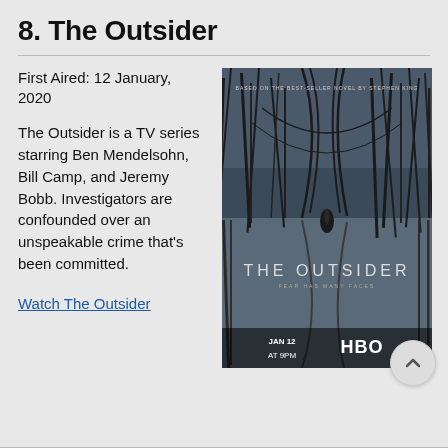8. The Outsider
First Aired: 12 January, 2020
The Outsider is a TV series starring Ben Mendelsohn, Bill Camp, and Jeremy Bobb. Investigators are confounded over an unspeakable crime that’s been committed.
[Figure (photo): Promotional poster for The Outsider HBO series showing dark trees reflected in water with the show title, tagline 'Fear has many faces', and 'JAN 12 AT 9PM HBO']
Watch The Outsider